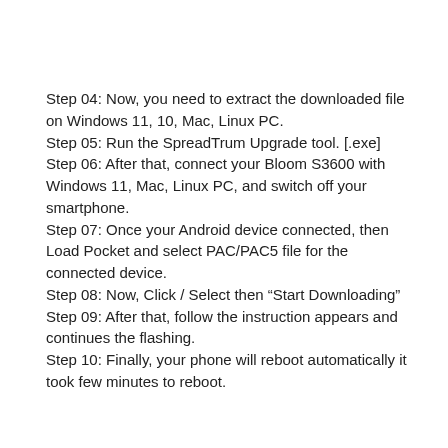Step 04: Now, you need to extract the downloaded file on Windows 11, 10, Mac, Linux PC.
Step 05: Run the SpreadTrum Upgrade tool. [.exe]
Step 06: After that, connect your Bloom S3600 with Windows 11, Mac, Linux PC, and switch off your smartphone.
Step 07: Once your Android device connected, then Load Pocket and select PAC/PAC5 file for the connected device.
Step 08: Now, Click / Select then “Start Downloading”
Step 09: After that, follow the instruction appears and continues the flashing.
Step 10: Finally, your phone will reboot automatically it took few minutes to reboot.